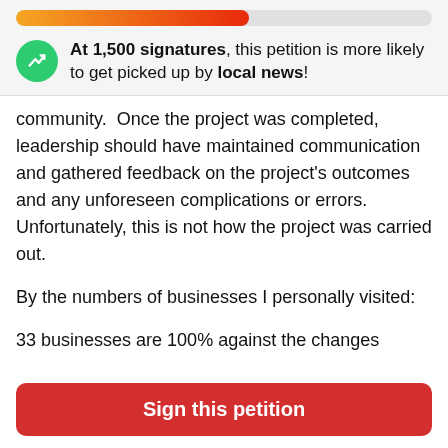[Figure (other): Progress bar with gradient from orange to red, partially filled to about 56%]
At 1,500 signatures, this petition is more likely to get picked up by local news!
community.  Once the project was completed, leadership should have maintained communication and gathered feedback on the project's outcomes and any unforeseen complications or errors. Unfortunately, this is not how the project was carried out.
By the numbers of businesses I personally visited:
33 businesses are 100% against the changes
3 businesses are neutral or would like more time
Sign this petition